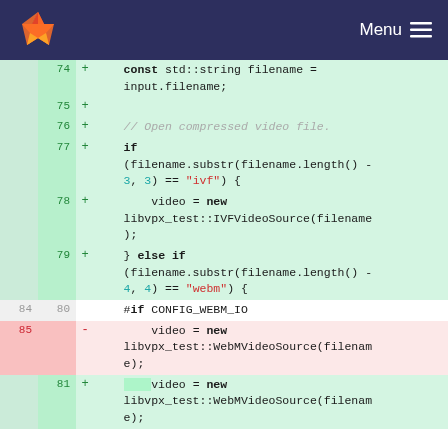[Figure (screenshot): GitLab navigation bar with fox logo and Menu icon on dark navy background]
Code diff view showing C++ source code changes. Lines 74-81 shown with added (+) and removed (-) markers. Added lines in green background, removed in red background. Code includes: const std::string filename = input.filename; // Open compressed video file. if (filename.substr(filename.length() - 3, 3) == "ivf") { video = new libvpx_test::IVFVideoSource(filename); } else if (filename.substr(filename.length() - 4, 4) == "webm") { #if CONFIG_WEBM_IO video = new libvpx_test::WebMVideoSource(filename); (removed) video = new libvpx_test::WebMVideoSource(filename); (added)